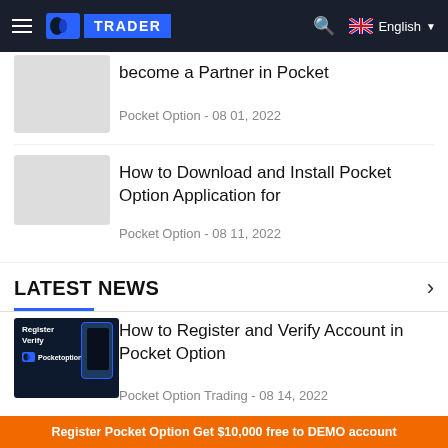TRADER | English
become a Partner in Pocket
Pocket Option - 08 01, 2022
How to Download and Install Pocket Option Application for
Pocket Option - 08 11, 2022
LATEST NEWS
How to Register and Verify Account in Pocket Option
Pocket Option Trading - 08 14, 2022
Register Pocket Option Get $10,000 free to DEMO account